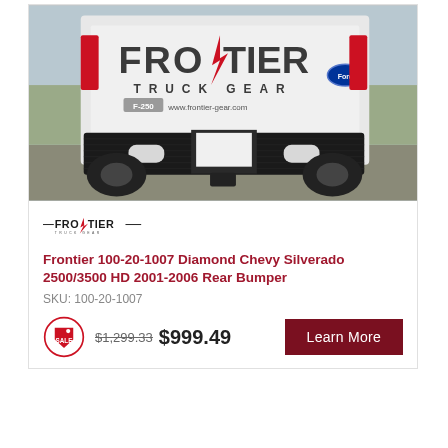[Figure (photo): Rear view of a white Ford F-250 truck with a Frontier Truck Gear brand diamond plate rear bumper installed. The truck tailgate prominently displays the Frontier Truck Gear logo and website www.frontier-gear.com.]
[Figure (logo): Frontier Truck Gear logo in black with red lightning bolt detail and small subtitle text TRUCK GEAR]
Frontier 100-20-1007 Diamond Chevy Silverado 2500/3500 HD 2001-2006 Rear Bumper
SKU: 100-20-1007
$1,299.33 $999.49
Learn More